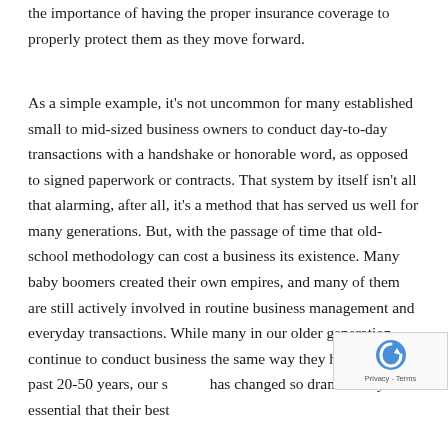the importance of having the proper insurance coverage to properly protect them as they move forward.
As a simple example, it's not uncommon for many established small to mid-sized business owners to conduct day-to-day transactions with a handshake or honorable word, as opposed to signed paperwork or contracts. That system by itself isn't all that alarming, after all, it's a method that has served us well for many generations. But, with the passage of time that old-school methodology can cost a business its existence. Many baby boomers created their own empires, and many of them are still actively involved in routine business management and everyday transactions. While many in our older generation continue to conduct business the same way they have for the past 20-50 years, our society has changed so dramatically it's essential that their best